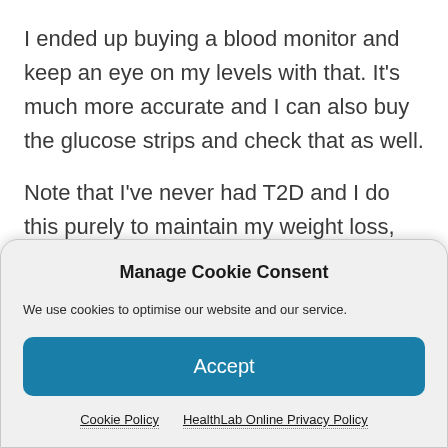I ended up buying a blood monitor and keep an eye on my levels with that. It's much more accurate and I can also buy the glucose strips and check that as well.
Note that I've never had T2D and I do this purely to maintain my weight loss, stay healthy and prevent serious illness. I get blood tests every year to monitor my insulin, liver enzymes and HDL/trig levels.
Manage Cookie Consent
We use cookies to optimise our website and our service.
Accept
Cookie Policy   HealthLab Online Privacy Policy